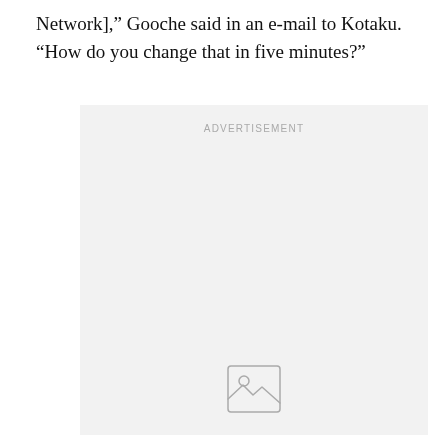Network], “ Gooche said in an e-mail to Kotaku. “How do you change that in five minutes?”
[Figure (other): Advertisement placeholder box with gray background, 'ADVERTISEMENT' label at top, and a generic image placeholder icon (mountain/landscape icon) near the bottom center.]